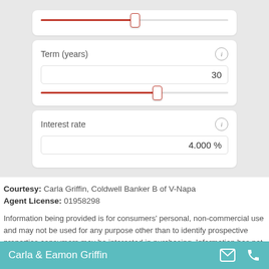[Figure (screenshot): Mortgage calculator UI showing Term (years) field with value 30 and a slider, and Interest rate field with value 4.000%, with slider controls on a light grey background]
Courtesy: Carla Griffin, Coldwell Banker B of V-Napa
Agent License: 01958298
Information being provided is for consumers' personal, non-commercial use and may not be used for any purpose other than to identify prospective properties consumers may be interested in purchasing. Information has not been verified, is not guaranteed, and
Carla & Eamon Griffin